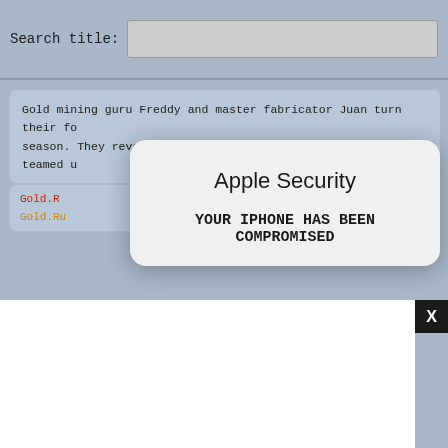Search title:
Gold mining guru Freddy and master fabricator Juan turn their fo season. They reveal how they got into gold and why they teamed u
Gold.R... Gold.Ru... end.of.Freddy. d.of.Freddy.an
Apple Security
YOUR IPHONE HAS BEEN COMPROMISED
[Figure (screenshot): White popup/iframe area with close button X in black square]